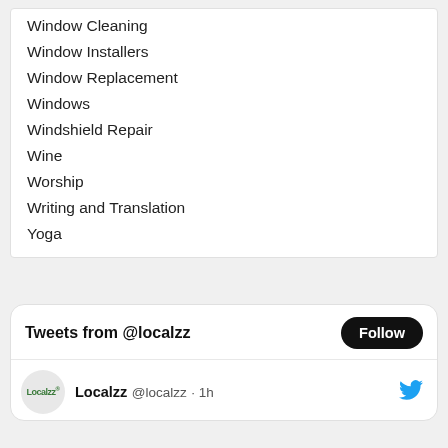Window Cleaning
Window Installers
Window Replacement
Windows
Windshield Repair
Wine
Worship
Writing and Translation
Yoga
Tweets from @localzz
Localzz @localzz · 1h